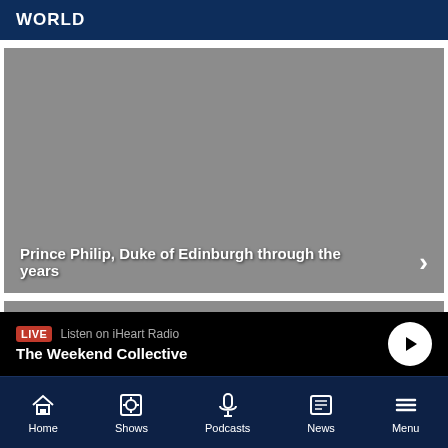WORLD
[Figure (photo): Grey placeholder image for Prince Philip slideshow]
Prince Philip, Duke of Edinburgh through the years
[Figure (photo): Second grey placeholder image strip]
LIVE Listen on iHeart Radio
The Weekend Collective
Home | Shows | Podcasts | News | Menu